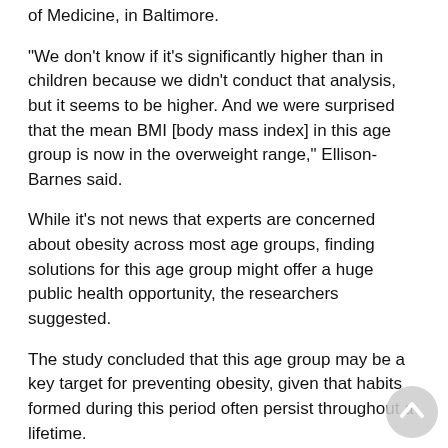of Medicine, in Baltimore.
"We don't know if it's significantly higher than in children because we didn't conduct that analysis, but it seems to be higher. And we were surprised that the mean BMI [body mass index] in this age group is now in the overweight range," Ellison-Barnes said.
While it's not news that experts are concerned about obesity across most age groups, finding solutions for this age group might offer a huge public health opportunity, the researchers suggested.
The study concluded that this age group may be a key target for preventing obesity, given that habits formed during this period often persist throughout a lifetime.
These young adult years are critical for adult development, filled with some major life transitions, Ellison-Barnes noted. It is also a time that scientists see obesity emerging. Researchers are working to figure out why, she said, including studying whether cultural trends in terms of education or workforce over the past several decades may be contributing to these changes.